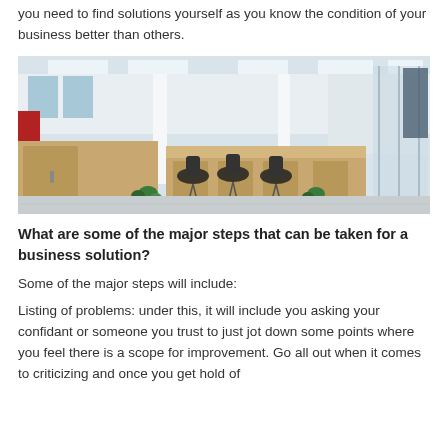you need to find solutions yourself as you know the condition of your business better than others.
[Figure (photo): Modern open-plan office with light wood workstations, black office chairs, white columns, green plants, and large windows with natural light.]
What are some of the major steps that can be taken for a business solution?
Some of the major steps will include:
Listing of problems: under this, it will include you asking your confidant or someone you trust to just jot down some points where you feel there is a scope for improvement. Go all out when it comes to criticizing and once you get hold of